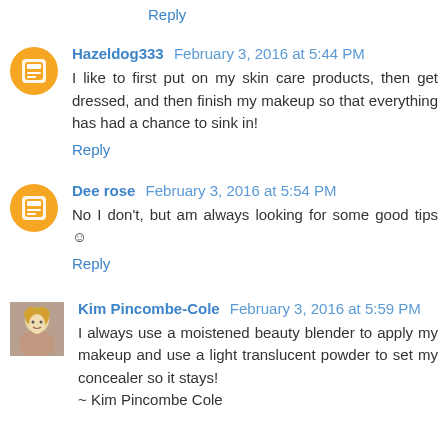Reply
Hazeldog333 February 3, 2016 at 5:44 PM
I like to first put on my skin care products, then get dressed, and then finish my makeup so that everything has had a chance to sink in!
Reply
Dee rose February 3, 2016 at 5:54 PM
No I don't, but am always looking for some good tips ☺
Reply
Kim Pincombe-Cole February 3, 2016 at 5:59 PM
I always use a moistened beauty blender to apply my makeup and use a light translucent powder to set my concealer so it stays!
~ Kim Pincombe Cole